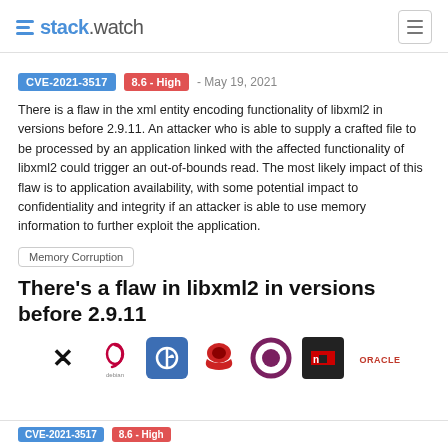stack.watch
CVE-2021-3517   8.6 - High   - May 19, 2021
There is a flaw in the xml entity encoding functionality of libxml2 in versions before 2.9.11. An attacker who is able to supply a crafted file to be processed by an application linked with the affected functionality of libxml2 could trigger an out-of-bounds read. The most likely impact of this flaw is to application availability, with some potential impact to confidentiality and integrity if an attacker is able to use memory information to further exploit the application.
Memory Corruption
There's a flaw in libxml2 in versions before 2.9.11
[Figure (logo): Row of vendor logos: X (Twitter), Debian, Fedora, Red Hat, Ubuntu/circle, npm/black square, Oracle]